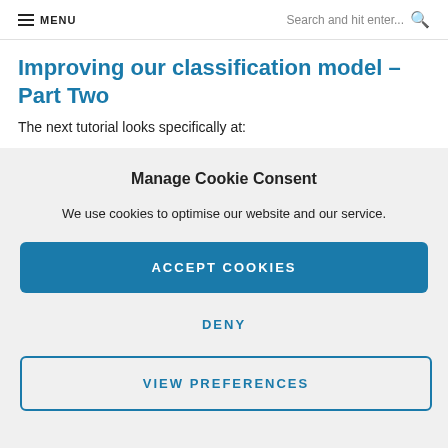MENU | Search and hit enter...
Improving our classification model – Part Two
The next tutorial looks specifically at:
Manage Cookie Consent
We use cookies to optimise our website and our service.
ACCEPT COOKIES
DENY
VIEW PREFERENCES